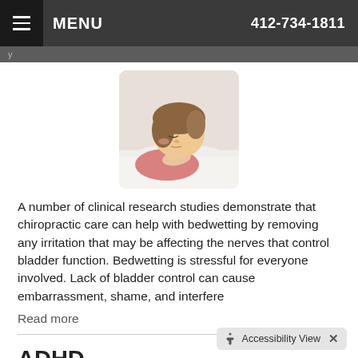MENU  412-734-1811
[Figure (photo): A young girl sleeping, resting her head on a white pillow, wearing a pink top]
A number of clinical research studies demonstrate that chiropractic care can help with bedwetting by removing any irritation that may be affecting the nerves that control bladder function. Bedwetting is stressful for everyone involved. Lack of bladder control can cause embarrassment, shame, and interfere
Read more
ADHD